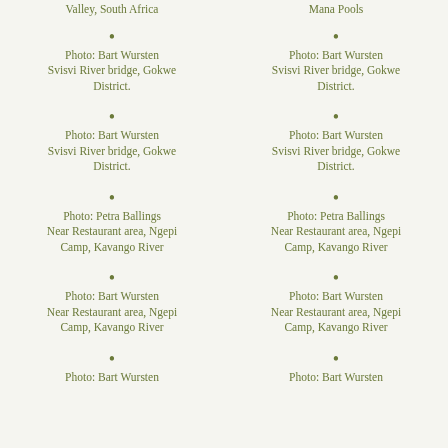Valley, South Africa
Mana Pools
•
Photo: Bart Wursten
Svisvi River bridge, Gokwe District.
•
Photo: Bart Wursten
Svisvi River bridge, Gokwe District.
•
Photo: Bart Wursten
Svisvi River bridge, Gokwe District.
•
Photo: Bart Wursten
Svisvi River bridge, Gokwe District.
•
Photo: Petra Ballings
Near Restaurant area, Ngepi Camp, Kavango River
•
Photo: Petra Ballings
Near Restaurant area, Ngepi Camp, Kavango River
•
Photo: Bart Wursten
Near Restaurant area, Ngepi Camp, Kavango River
•
Photo: Bart Wursten
Near Restaurant area, Ngepi Camp, Kavango River
•
Photo: Bart Wursten
•
Photo: Bart Wursten